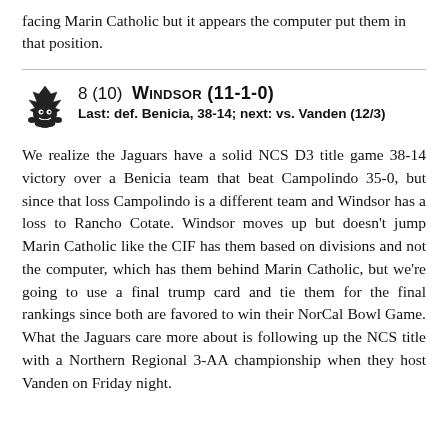facing Marin Catholic but it appears the computer put them in that position.
8 (10)  WINDSOR (11-1-0)
Last: def. Benicia, 38-14; next: vs. Vanden (12/3)
We realize the Jaguars have a solid NCS D3 title game 38-14 victory over a Benicia team that beat Campolindo 35-0, but since that loss Campolindo is a different team and Windsor has a loss to Rancho Cotate. Windsor moves up but doesn't jump Marin Catholic like the CIF has them based on divisions and not the computer, which has them behind Marin Catholic, but we're going to use a final trump card and tie them for the final rankings since both are favored to win their NorCal Bowl Game. What the Jaguars care more about is following up the NCS title with a Northern Regional 3-AA championship when they host Vanden on Friday night.